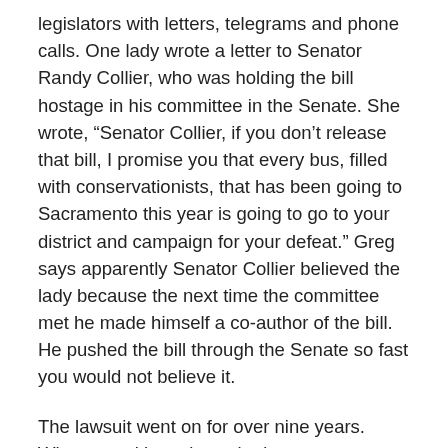legislators with letters, telegrams and phone calls. One lady wrote a letter to Senator Randy Collier, who was holding the bill hostage in his committee in the Senate. She wrote, “Senator Collier, if you don’t release that bill, I promise you that every bus, filled with conservationists, that has been going to Sacramento this year is going to go to your district and campaign for your defeat.” Greg says apparently Senator Collier believed the lady because the next time the committee met he made himself a co-author of the bill. He pushed the bill through the Senate so fast you would not believe it.
The lawsuit went on for over nine years. What was ultimately worked out was a tripartite negotiation among the developers, the State Lands Commission, and the environmentalists. This negotiation was over the redrawing of the property lines in the Bay within San Mateo County. The result is that there has been virtually no further encroachment on these tidelands. That was a very major